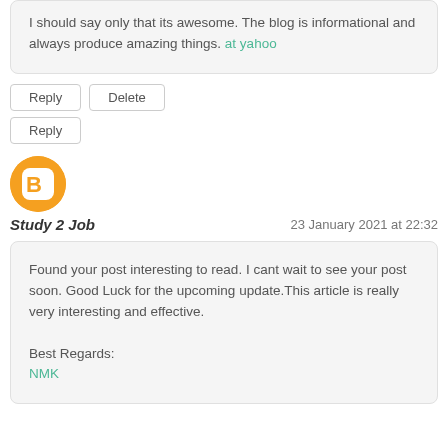I should say only that its awesome. The blog is informational and always produce amazing things. at yahoo
Reply | Delete
Reply
[Figure (logo): Blogger orange circular avatar icon with white 'B' logo]
Study 2 Job
23 January 2021 at 22:32
Found your post interesting to read. I cant wait to see your post soon. Good Luck for the upcoming update.This article is really very interesting and effective.

Best Regards:
NMK